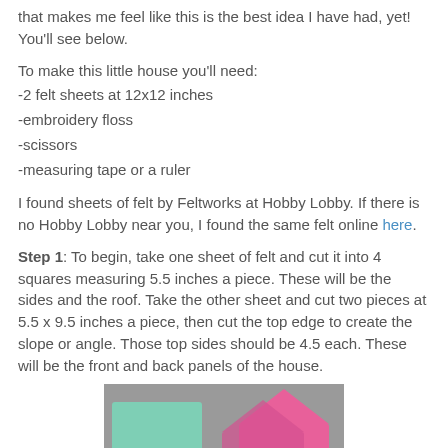that makes me feel like this is the best idea I have had, yet! You'll see below.
To make this little house you'll need:
-2 felt sheets at 12x12 inches
-embroidery floss
-scissors
-measuring tape or a ruler
I found sheets of felt by Feltworks at Hobby Lobby. If there is no Hobby Lobby near you, I found the same felt online here.
Step 1: To begin, take one sheet of felt and cut it into 4 squares measuring 5.5 inches a piece. These will be the sides and the roof. Take the other sheet and cut two pieces at 5.5 x 9.5 inches a piece, then cut the top edge to create the slope or angle. Those top sides should be 4.5 each. These will be the front and back panels of the house.
[Figure (photo): Photo of felt pieces: a teal/mint square piece of felt on the left and pink house-shaped felt pieces on the right, showing the cut panels for the felt house project.]